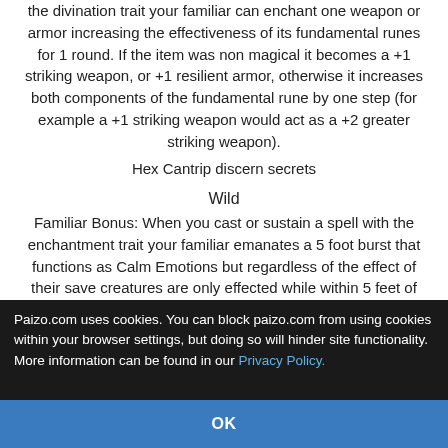Familiar Bonus: When you cast or sustain a spell with the divination trait your familiar can enchant one weapon or armor increasing the effectiveness of its fundamental runes for 1 round. If the item was non magical it becomes a +1 striking weapon, or +1 resilient armor, otherwise it increases both components of the fundamental rune by one step (for example a +1 striking weapon would act as a +2 greater striking weapon). Hex Cantrip discern secrets
Wild
Familiar Bonus: When you cast or sustain a spell with the enchantment trait your familiar emanates a 5 foot burst that functions as Calm Emotions but regardless of the effect of their save creatures are only effected while within 5 feet of your familiar..
Paizo.com uses cookies. You can block paizo.com from using cookies within your browser settings, but doing so will hinder site functionality. More information can be found in our Privacy Policy.
OK